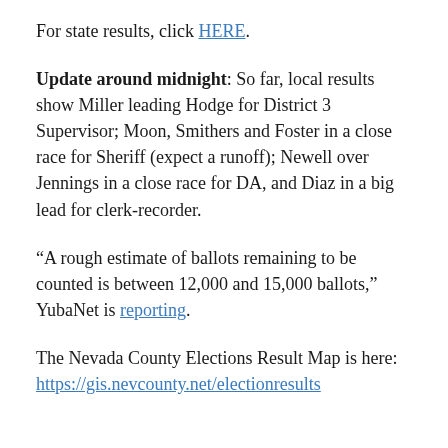For state results, click HERE.
Update around midnight: So far, local results show Miller leading Hodge for District 3 Supervisor; Moon, Smithers and Foster in a close race for Sheriff (expect a runoff); Newell over Jennings in a close race for DA, and Diaz in a big lead for clerk-recorder.
“A rough estimate of ballots remaining to be counted is between 12,000 and 15,000 ballots,” YubaNet is reporting.
The Nevada County Elections Result Map is here: https://gis.nevcounty.net/electionresults